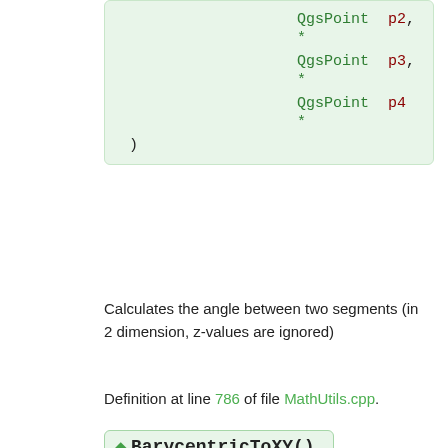| QgsPoint * | p2, |
| QgsPoint * | p3, |
| QgsPoint * | p4 |
| ) |  |
Calculates the angle between two segments (in 2 dimension, z-values are ignored)
Definition at line 786 of file MathUtils.cpp.
◆ BarycentricToXY()
| bool MathUtils::BarycentricToXY | ( double | u, |
|  | double | v, |
|  | double | w, |
|  | QgsPoint * | p1, |